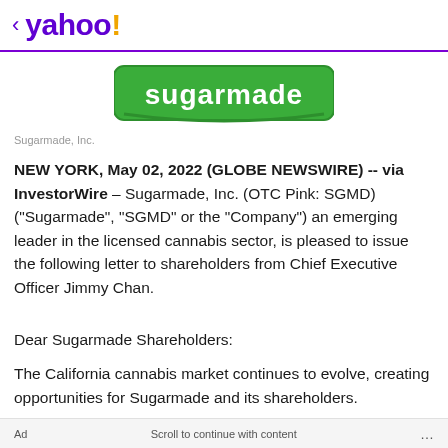< yahoo!
[Figure (logo): Sugarmade green logo with white text on green rounded rectangle background]
Sugarmade, Inc.
NEW YORK, May 02, 2022 (GLOBE NEWSWIRE) -- via InvestorWire – Sugarmade, Inc. (OTC Pink: SGMD) ("Sugarmade", "SGMD" or the "Company") an emerging leader in the licensed cannabis sector, is pleased to issue the following letter to shareholders from Chief Executive Officer Jimmy Chan.
Dear Sugarmade Shareholders:
The California cannabis market continues to evolve, creating opportunities for Sugarmade and its shareholders.
Ad    Scroll to continue with content    ...